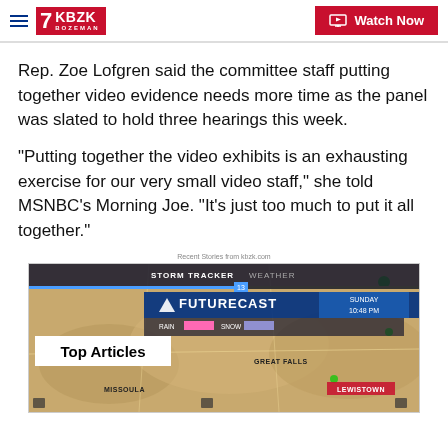7 KBZK BOZEMAN | Watch Now
Rep. Zoe Lofgren said the committee staff putting together video evidence needs more time as the panel was slated to hold three hearings this week.
"Putting together the video exhibits is an exhausting exercise for our very small video staff," she told MSNBC's Morning Joe. "It's just too much to put it all together."
Recent Stories from kbzk.com
[Figure (screenshot): Weather map showing STORM TRACKER FUTURECAST with SUNDAY overlay, displaying Montana regions including GREAT FALLS, MISSOULA, LEWISTOWN. Shows RAIN and SNOW legend. Top Articles badge overlaid.]